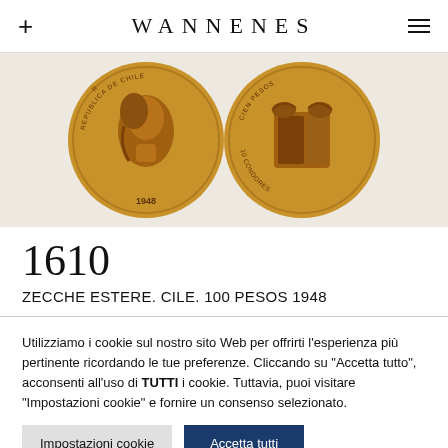WANNENES
[Figure (photo): Two gold Chilean coins side by side: obverse showing a female profile with text 'REPUBLICA DE CHILE' and date 1948, reverse showing Chilean coat of arms with condors and text 'CIEN PESOS' and '10 CONDORES']
1610
ZECCHE ESTERE. CILE. 100 PESOS 1948
Utilizziamo i cookie sul nostro sito Web per offrirti l'esperienza più pertinente ricordando le tue preferenze. Cliccando su "Accetta tutto", acconsenti all'uso di TUTTI i cookie. Tuttavia, puoi visitare "Impostazioni cookie" e fornire un consenso selezionato.
Impostazioni cookie | Accetta tutti